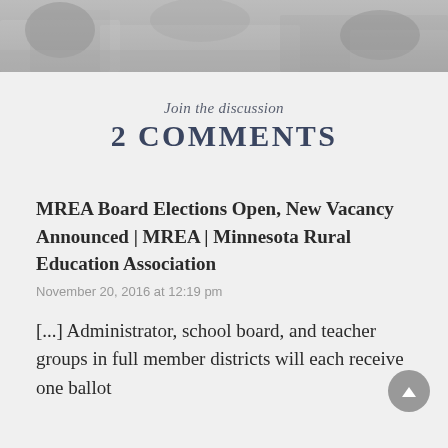[Figure (photo): Grayscale photo of people at a table, cropped at top, showing hands and papers]
Join the discussion
2 COMMENTS
MREA Board Elections Open, New Vacancy Announced | MREA | Minnesota Rural Education Association
November 20, 2016 at 12:19 pm
[...] Administrator, school board, and teacher groups in full member districts will each receive one ballot